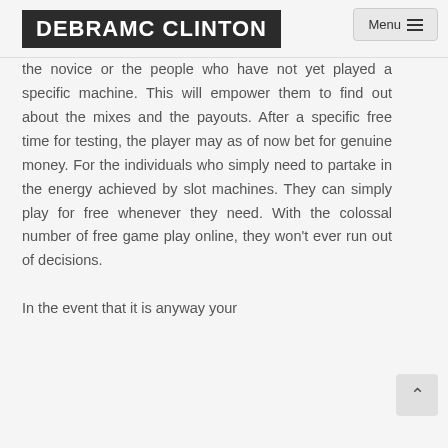DEBRAMC CLINTON
the novice or the people who have not yet played a specific machine. This will empower them to find out about the mixes and the payouts. After a specific free time for testing, the player may as of now bet for genuine money. For the individuals who simply need to partake in the energy achieved by slot machines. They can simply play for free whenever they need. With the colossal number of free game play online, they won't ever run out of decisions.
In the event that it is anyway your